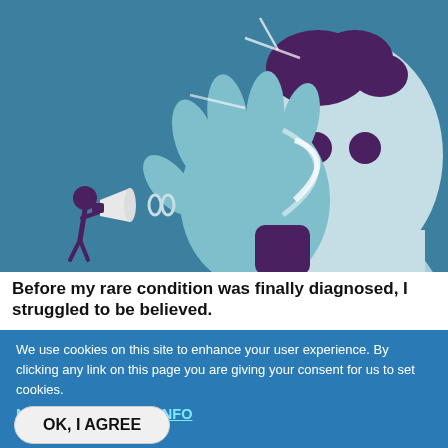[Figure (illustration): Cartoon illustration on a teal/blue background. A large light-blue stylised figure with dark purple hair cups one oversized hand to their ear, listening. Their face shows two dark dots as eyes. On the left, a small purple figure shouts through a megaphone with sound-wave lines radiating from it.]
Before my rare condition was finally diagnosed, I struggled to be believed.
We use cookies on this site to enhance your user experience. By clicking any link on this page you are giving your consent for us to set cookies.
NO, GIVE ME MORE INFO
OK, I AGREE